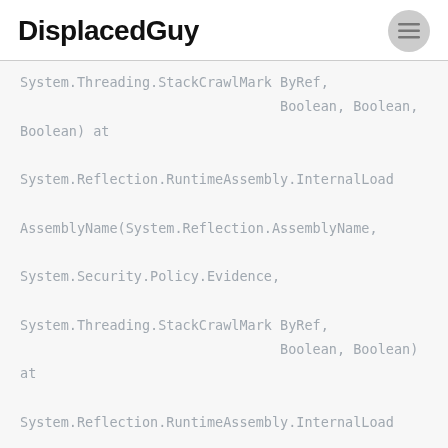DisplacedGuy
System.Threading.StackCrawlMark ByRef,
                                Boolean, Boolean,
Boolean) at

System.Reflection.RuntimeAssembly.InternalLoad

AssemblyName(System.Reflection.AssemblyName,

System.Security.Policy.Evidence,

System.Threading.StackCrawlMark ByRef,
                                Boolean, Boolean)
at

System.Reflection.RuntimeAssembly.InternalLoad

From(System.String,

System.Security.Policy.Evidence, Byte[],

System.Configuration.Assemblies.AssemblyHashAl
                                gorithm, Boolean,
Boolean,